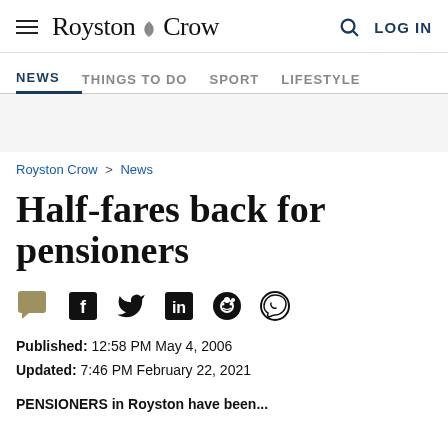Royston Crow — NEWS | THINGS TO DO | SPORT | LIFESTYLE
Royston Crow > News
Half-fares back for pensioners
Published: 12:58 PM May 4, 2006
Updated: 7:46 PM February 22, 2021
PENSIONERS in Royston have been...